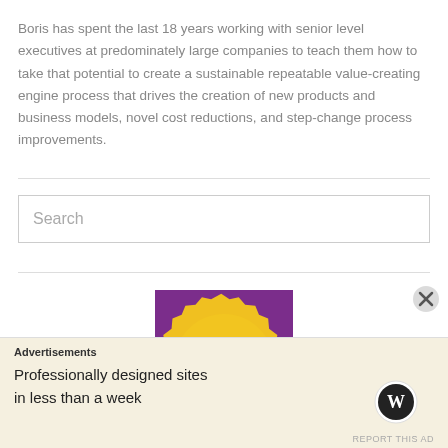Boris has spent the last 18 years working with senior level executives at predominately large companies to teach them how to take that potential to create a sustainable repeatable value-creating engine process that drives the creation of new products and business models, novel cost reductions, and step-change process improvements.
Search
[Figure (logo): World Innovation Forum gold seal badge on purple background with text: WORLD INNOVATION FORUM New York City]
Advertisements
Professionally designed sites in less than a week